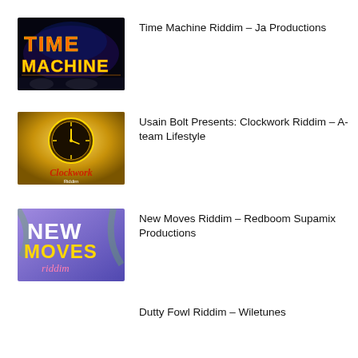[Figure (illustration): Time Machine Riddim album artwork — dark background with colorful retro 'TIME MACHINE' text in orange/yellow gradient]
Time Machine Riddim – Ja Productions
[Figure (illustration): Clockwork Riddim album artwork — gold background with a clock face and 'Clockwork Riddim' text, artist names listed below]
Usain Bolt Presents: Clockwork Riddim – A-team Lifestyle
[Figure (illustration): New Moves Riddim album artwork — purple/blue background with tropical leaves and 'NEW MOVES riddim' in pink/yellow text]
New Moves Riddim – Redboom Supamix Productions
Dutty Fowl Riddim – Wiletunes